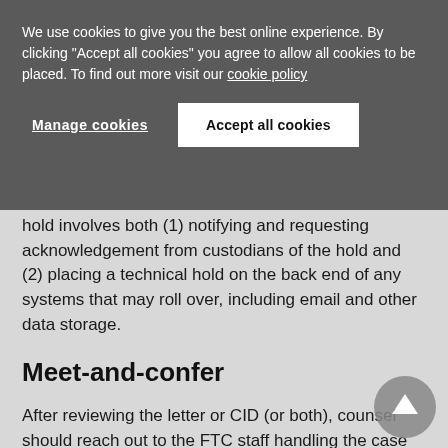We use cookies to give you the best online experience. By clicking "Accept all cookies" you agree to allow all cookies to be placed. To find out more visit our cookie policy
Manage cookies
Accept all cookies
hold involves both (1) notifying and requesting acknowledgement from custodians of the hold and (2) placing a technical hold on the back end of any systems that may roll over, including email and other data storage.
Meet-and-confer
After reviewing the letter or CID (or both), counsel should reach out to the FTC staff handling the case to acknowledge receipt